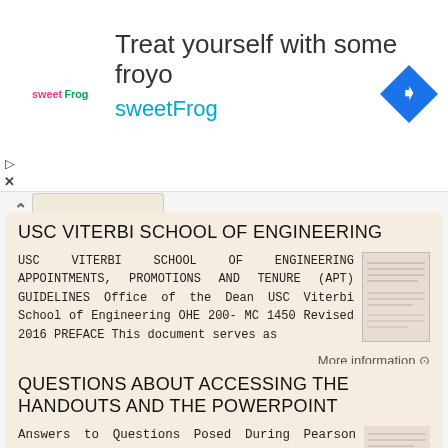[Figure (screenshot): Advertisement banner for sweetFrog frozen yogurt with logo, headline 'Treat yourself with some froyo', subheadline 'sweetFrog', and a blue navigation arrow icon on the right. Play and close controls on the left.]
USC VITERBI SCHOOL OF ENGINEERING
USC VITERBI SCHOOL OF ENGINEERING APPOINTMENTS, PROMOTIONS AND TENURE (APT) GUIDELINES Office of the Dean USC Viterbi School of Engineering OHE 200- MC 1450 Revised 2016 PREFACE This document serves as
More information →
QUESTIONS ABOUT ACCESSING THE HANDOUTS AND THE POWERPOINT
Answers to Questions Posed During Pearson aimsweb Webinar: Special Education Leads: Quality IEPs and Progress